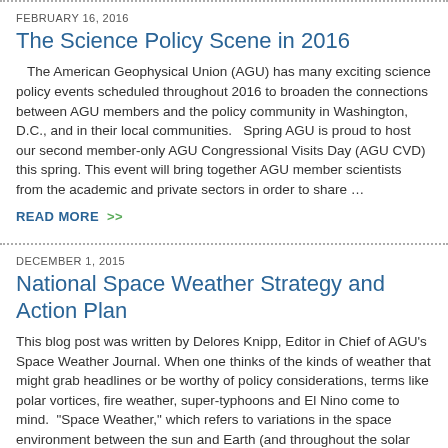FEBRUARY 16, 2016
The Science Policy Scene in 2016
The American Geophysical Union (AGU) has many exciting science policy events scheduled throughout 2016 to broaden the connections between AGU members and the policy community in Washington, D.C., and in their local communities.   Spring AGU is proud to host our second member-only AGU Congressional Visits Day (AGU CVD) this spring. This event will bring together AGU member scientists from the academic and private sectors in order to share …
READ MORE  >>
DECEMBER 1, 2015
National Space Weather Strategy and Action Plan
This blog post was written by Delores Knipp, Editor in Chief of AGU's Space Weather Journal. When one thinks of the kinds of weather that might grab headlines or be worthy of policy considerations, terms like polar vortices, fire weather, super-typhoons and El Nino come to mind.  "Space Weather," which refers to variations in the space environment between the sun and Earth (and throughout the solar